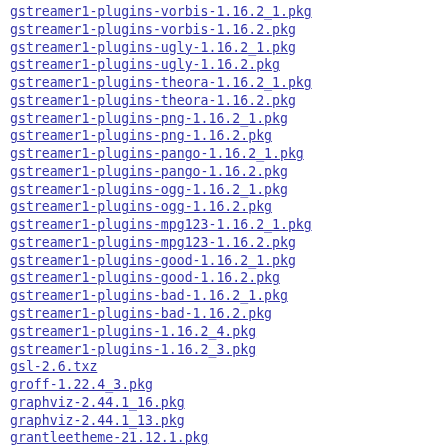gstreamer1-plugins-vorbis-1.16.2_1.pkg
gstreamer1-plugins-vorbis-1.16.2.pkg
gstreamer1-plugins-ugly-1.16.2_1.pkg
gstreamer1-plugins-ugly-1.16.2.pkg
gstreamer1-plugins-theora-1.16.2_1.pkg
gstreamer1-plugins-theora-1.16.2.pkg
gstreamer1-plugins-png-1.16.2_1.pkg
gstreamer1-plugins-png-1.16.2.pkg
gstreamer1-plugins-pango-1.16.2_1.pkg
gstreamer1-plugins-pango-1.16.2.pkg
gstreamer1-plugins-ogg-1.16.2_1.pkg
gstreamer1-plugins-ogg-1.16.2.pkg
gstreamer1-plugins-mpg123-1.16.2_1.pkg
gstreamer1-plugins-mpg123-1.16.2.pkg
gstreamer1-plugins-good-1.16.2_1.pkg
gstreamer1-plugins-good-1.16.2.pkg
gstreamer1-plugins-bad-1.16.2_1.pkg
gstreamer1-plugins-bad-1.16.2.pkg
gstreamer1-plugins-1.16.2_4.pkg
gstreamer1-plugins-1.16.2_3.pkg
gsl-2.6.txz
groff-1.22.4_3.pkg
graphviz-2.44.1_16.pkg
graphviz-2.44.1_13.pkg
grantleetheme-21.12.1.pkg
grantleetheme-21.08.2.pkg
grantleetheme-21.04.3.pkg
grantleetheme-21.04.2.txz
grantleetheme-21.04.1.txz
grantleetheme-21.04.0.txz